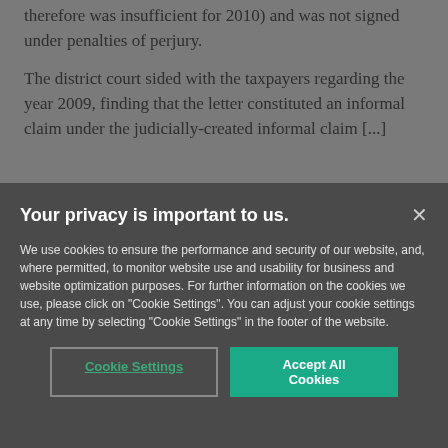therefore was insufficient for 2010) and was not signed under penalties of perjury.
The district court sided with the taxpayers regarding the year 2009, finding that the letter constituted an informal claim under the judicially-created informal claim [...]
Your privacy is important to us.
We use cookies to ensure the performance and security of our website, and, where permitted, to monitor website use and usability for business and website optimization purposes. For further information on the cookies we use, please click on "Cookie Settings". You can adjust your cookie settings at any time by selecting "Cookie Settings" in the footer of the website.
Cookie Settings
Accept All Cookies